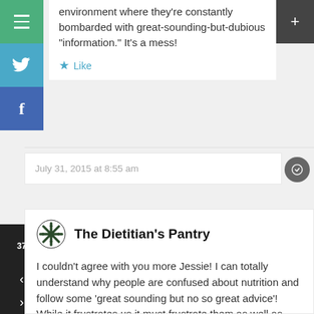environment where they're constantly bombarded with great-sounding-but-dubious "information." It's a mess!
Like
July 31, 2015 at 8:55 am
[Figure (logo): The Dietitian's Pantry snowflake logo]
The Dietitian's Pantry
I couldn't agree with you more Jessie! I can totally understand why people are confused about nutrition and follow some 'great sounding but no so great advice'! While it frustrates us it must frustrate them as well as they don't know what to believe.